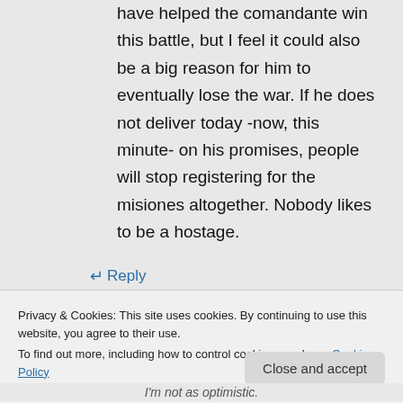have helped the comandante win this battle, but I feel it could also be a big reason for him to eventually lose the war. If he does not deliver today -now, this minute- on his promises, people will stop registering for the misiones altogether. Nobody likes to be a hostage.
↵ Reply
Privacy & Cookies: This site uses cookies. By continuing to use this website, you agree to their use.
To find out more, including how to control cookies, see here: Cookie Policy
Close and accept
I'm not as optimistic.